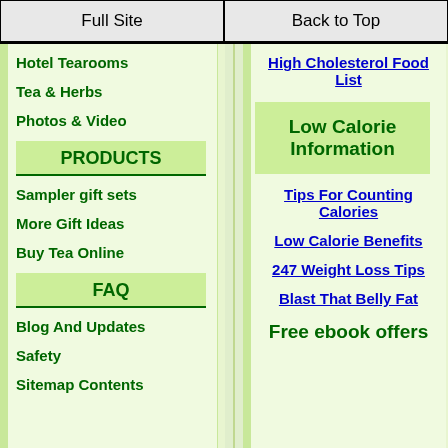Full Site | Back to Top
Hotel Tearooms
Tea & Herbs
Photos & Video
PRODUCTS
Sampler gift sets
More Gift Ideas
Buy Tea Online
FAQ
Blog And Updates
Safety
Sitemap Contents
High Cholesterol Food List
Low Calorie Information
Tips For Counting Calories
Low Calorie Benefits
247 Weight Loss Tips
Blast That Belly Fat
Free ebook offers